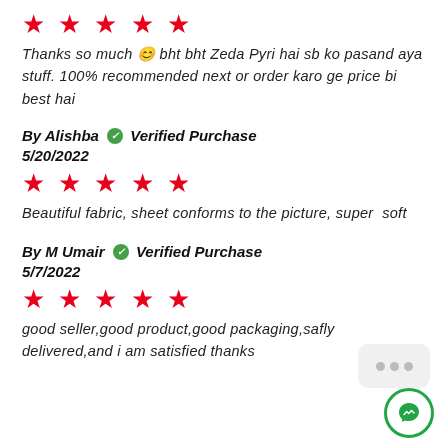[Figure (other): 5 red star rating icons]
Thanks so much 😊 bht bht Zeda Pyri hai sb ko pasand aya stuff. 100% recommended next or order karo ge price bi best hai
By Alishba ✔ Verified Purchase 5/20/2022
[Figure (other): 5 red star rating icons]
Beautiful fabric, sheet conforms to the picture, super soft
By M Umair ✔ Verified Purchase 5/7/2022
[Figure (other): 5 red star rating icons]
good seller,good product,good packaging,safly delivered,and i am satisfied thanks